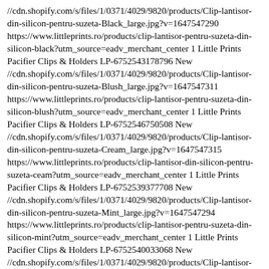//cdn.shopify.com/s/files/1/0371/4029/9820/products/Clip-lantisor-din-silicon-pentru-suzeta-Black_large.jpg?v=1647547290 https://www.littleprints.ro/products/clip-lantisor-pentru-suzeta-din-silicon-black?utm_source=eadv_merchant_center 1 Little Prints Pacifier Clips & Holders LP-6752543178796 New //cdn.shopify.com/s/files/1/0371/4029/9820/products/Clip-lantisor-din-silicon-pentru-suzeta-Blush_large.jpg?v=1647547311 https://www.littleprints.ro/products/clip-lantisor-pentru-suzeta-din-silicon-blush?utm_source=eadv_merchant_center 1 Little Prints Pacifier Clips & Holders LP-6752546750508 New //cdn.shopify.com/s/files/1/0371/4029/9820/products/Clip-lantisor-din-silicon-pentru-suzeta-Cream_large.jpg?v=1647547315 https://www.littleprints.ro/products/clip-lantisor-din-silicon-pentru-suzeta-ceam?utm_source=eadv_merchant_center 1 Little Prints Pacifier Clips & Holders LP-6752539377708 New //cdn.shopify.com/s/files/1/0371/4029/9820/products/Clip-lantisor-din-silicon-pentru-suzeta-Mint_large.jpg?v=1647547294 https://www.littleprints.ro/products/clip-lantisor-pentru-suzeta-din-silicon-mint?utm_source=eadv_merchant_center 1 Little Prints Pacifier Clips & Holders LP-6752540033068 New //cdn.shopify.com/s/files/1/0371/4029/9820/products/Clip-lantisor-din-silicon-pentru-suzeta-Roz-Pudra_large.jpg?v=1647547307 https://www.littleprints.ro/products/clip-lantisor-pentru-suzeta-din-silicon-roz-pudra?utm_source=eadv_merchant_center 1 Little Prints Pacifier Clips & Holders LP-6752548225068 New